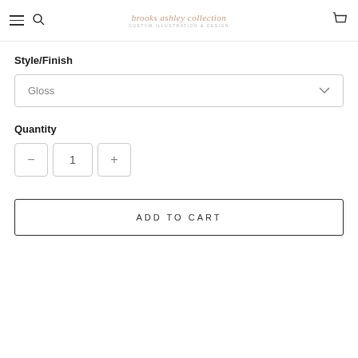brooks ashley collection — custom illustration & design
Style/Finish
Gloss
Quantity
− 1 +
ADD TO CART